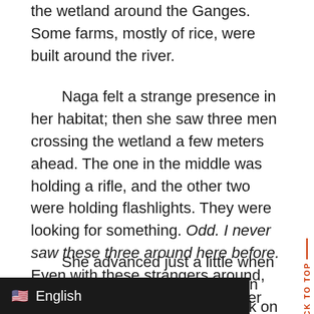the wetland around the Ganges. Some farms, mostly of rice, were built around the river.
Naga felt a strange presence in her habitat; then she saw three men crossing the wetland a few meters ahead. The one in the middle was holding a rifle, and the other two were holding flashlights. They were looking for something. Odd. I never saw these three around here before. Even with these strangers around, she decided to continue down her path looking for food.
She advanced just a little when she saw a young tiger lying down among the vegetation, a pur... k on his back. His breath was slow,